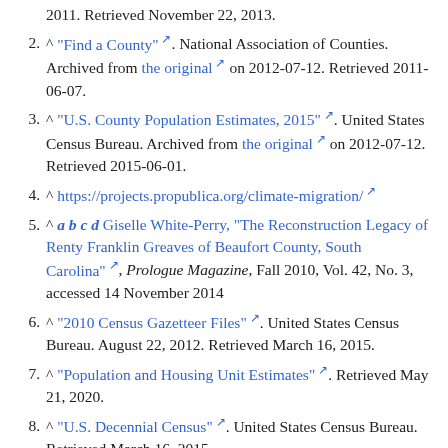2011. Retrieved November 22, 2013.
2. ^ "Find a County". National Association of Counties. Archived from the original on 2012-07-12. Retrieved 2011-06-07.
3. ^ "U.S. County Population Estimates, 2015". United States Census Bureau. Archived from the original on 2012-07-12. Retrieved 2015-06-01.
4. ^ https://projects.propublica.org/climate-migration/
5. ^ a b c d Giselle White-Perry, "The Reconstruction Legacy of Renty Franklin Greaves of Beaufort County, South Carolina", Prologue Magazine, Fall 2010, Vol. 42, No. 3, accessed 14 November 2014
6. ^ "2010 Census Gazetteer Files". United States Census Bureau. August 22, 2012. Retrieved March 16, 2015.
7. ^ "Population and Housing Unit Estimates". Retrieved May 21, 2020.
8. ^ "U.S. Decennial Census". United States Census Bureau. Retrieved March 16, 2015.
9. ^ "Historical Census Browser". University of Virginia Library. Retrieved March 16, 2015.
10. ^ Forstall, Richard L., ed. (March 27, 1995). "Population of Counties by Decennial Census: 1900 to 1990". United States Census Bureau. Retrieved March 16,